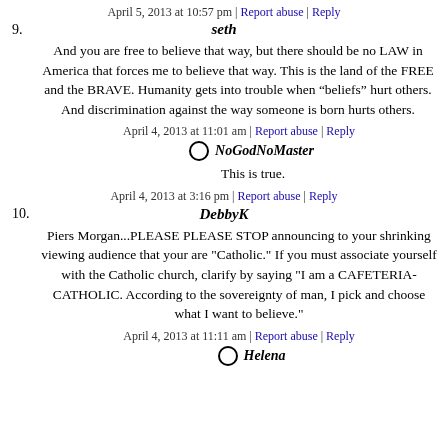April 5, 2013 at 10:57 pm | Report abuse | Reply
9. seth
And you are free to believe that way, but there should be no LAW in America that forces me to believe that way. This is the land of the FREE and the BRAVE. Humanity gets into trouble when “beliefs” hurt others. And discrimination against the way someone is born hurts others.
April 4, 2013 at 11:01 am | Report abuse | Reply
◦ NoGodNoMaster
This is true.
April 4, 2013 at 3:16 pm | Report abuse | Reply
10. DebbyK
Piers Morgan...PLEASE PLEASE STOP announcing to your shrinking viewing audience that your are "Catholic." If you must associate yourself with the Catholic church, clarify by saying "I am a CAFETERIA-CATHOLIC. According to the sovereignty of man, I pick and choose what I want to believe."
April 4, 2013 at 11:11 am | Report abuse | Reply
◦ Helena